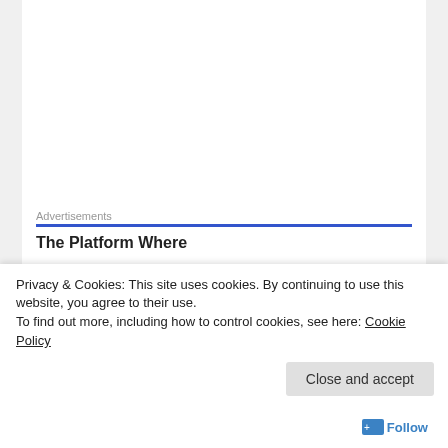possible.
Synopsis: DIVINITY: ORIGINAL SIN 2
Advertisements
The Platform Where
[Figure (illustration): Game artwork showing fantasy characters including a skeleton mage, elf archer, human warrior, and pirate captain against a blue magical background]
Privacy & Cookies: This site uses cookies. By continuing to use this website, you agree to their use.
To find out more, including how to control cookies, see here: Cookie Policy
Close and accept